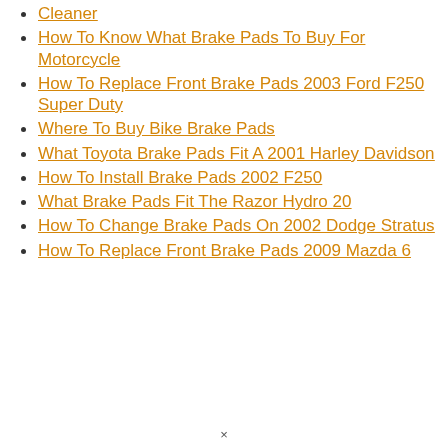Cleaner
How To Know What Brake Pads To Buy For Motorcycle
How To Replace Front Brake Pads 2003 Ford F250 Super Duty
Where To Buy Bike Brake Pads
What Toyota Brake Pads Fit A 2001 Harley Davidson
How To Install Brake Pads 2002 F250
What Brake Pads Fit The Razor Hydro 20
How To Change Brake Pads On 2002 Dodge Stratus
How To Replace Front Brake Pads 2009 Mazda 6
×